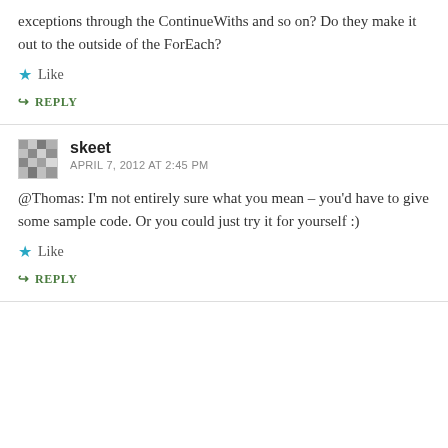exceptions through the ContinueWiths and so on? Do they make it out to the outside of the ForEach?
Like
REPLY
skeet
APRIL 7, 2012 AT 2:45 PM
@Thomas: I'm not entirely sure what you mean – you'd have to give some sample code. Or you could just try it for yourself :)
Like
REPLY